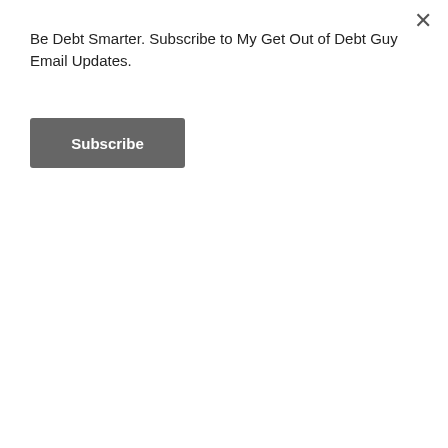Be Debt Smarter. Subscribe to My Get Out of Debt Guy Email Updates.
Subscribe
debtor may ask the court to grant a “hardship discharge.” 11 U.S.C. § 1328(b). Generally, such a discharge is available only if: (1) the debtor’s failure to complete plan payments is due to circumstances beyond the debtor’s control and through no fault of the debtor; (2) creditors have received at least as much as they would have received in a chapter 7 liquidation case; and (3) modification of the plan is not possible. Injury or illness that precludes